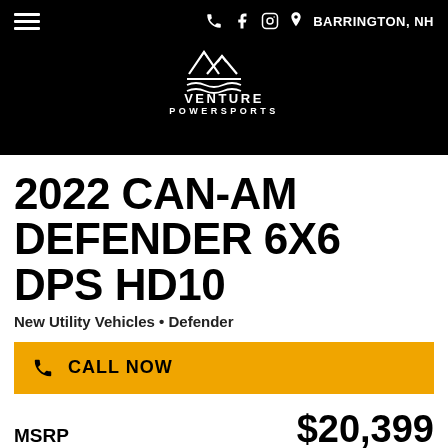BARRINGTON, NH — Venture Powersports
[Figure (logo): Venture Powersports logo: white mountain/wave icon above text VENTURE POWERSPORTS on black background]
2022 CAN-AM DEFENDER 6X6 DPS HD10
New Utility Vehicles • Defender
CALL NOW
MSRP $20,399